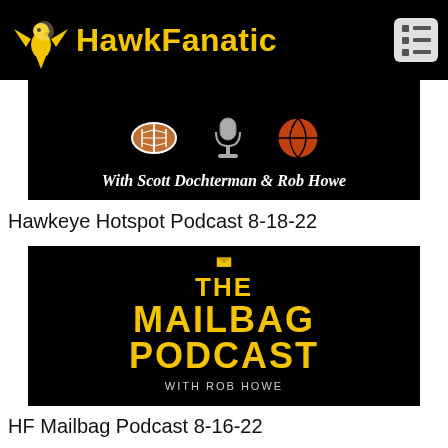HawkFanatic
[Figure (screenshot): Hawkeye Hotspot Podcast banner with sports icons (football, trophy/microphone, basketball) and text 'With Scott Dochterman & Rob Howe' on black background]
Hawkeye Hotspot Podcast 8-18-22
[Figure (screenshot): The Mailbag Podcast logo with yellow envelope icon and yellow block text 'THE MAILBAG PODCAST WITH ROB HOWE' on black background]
HF Mailbag Podcast 8-16-22